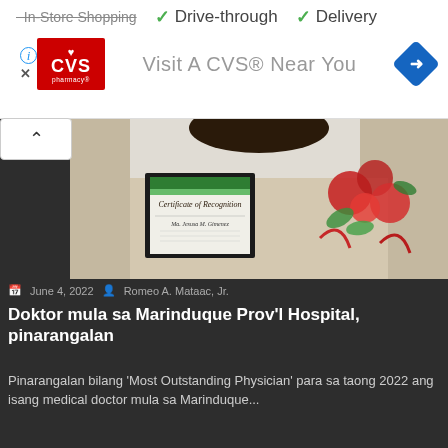[Figure (screenshot): CVS Pharmacy advertisement banner showing Drive-through and Delivery checkmarks, CVS logo, navigation arrow icon, and 'Visit A CVS® Near You' text. Info (i) and X close icons visible.]
[Figure (photo): Photo of a person holding a Certificate of Recognition in a black frame, with red flowers/bouquet visible to the right.]
June 4, 2022   Romeo A. Mataac, Jr.
Doktor mula sa Marinduque Prov'l Hospital, pinarangalan
Pinarangalan bilang 'Most Outstanding Physician' para sa taong 2022 ang isang medical doctor mula sa Marinduque...
Life and Style
[Figure (photo): Partial bottom strip showing hats and decorative items on dark background.]